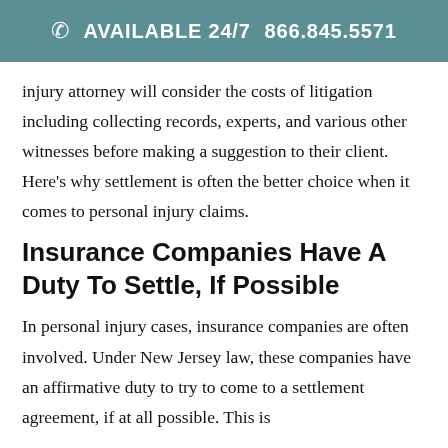AVAILABLE 24/7   866.845.5571
injury attorney will consider the costs of litigation including collecting records, experts, and various other witnesses before making a suggestion to their client. Here's why settlement is often the better choice when it comes to personal injury claims.
Insurance Companies Have A Duty To Settle, If Possible
In personal injury cases, insurance companies are often involved. Under New Jersey law, these companies have an affirmative duty to try to come to a settlement agreement, if at all possible. This is